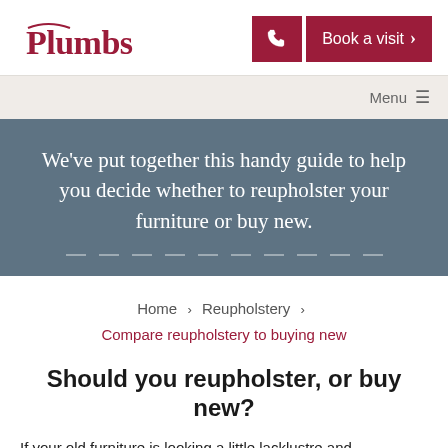Plumbs | Book a visit
[Figure (screenshot): Navigation menu bar with 'Menu' label and hamburger icon on right side, light beige background]
We've put together this handy guide to help you decide whether to reupholster your furniture or buy new.
Home > Reupholstery > Compare reupholstery to buying new
Should you reupholster, or buy new?
If your old furniture is looking a little lacklustre and